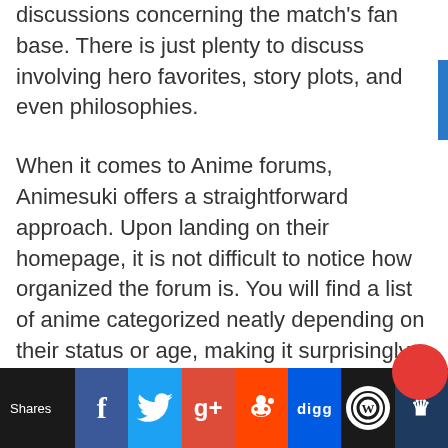discussions concerning the match's fan base. There is just plenty to discuss involving hero favorites, story plots, and even philosophies.
When it comes to Anime forums, Animesuki offers a straightforward approach. Upon landing on their homepage, it is not difficult to notice how organized the forum is. You will find a list of anime categorized neatly depending on their status or age, making it surprisingly easy to find a topic you want to talk about.
Furthermore, the site has been around for a while, and this has...
Shares | Facebook | Twitter | Google+ | Reddit | digg | WordPress | Crown